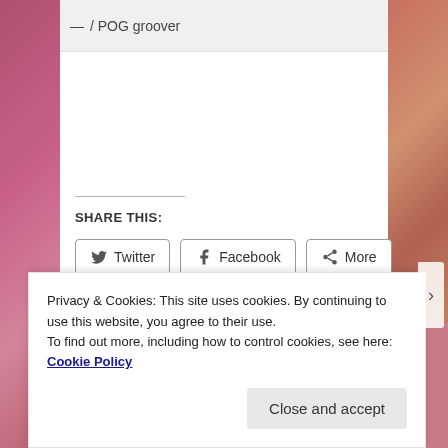POG groover
SHARE THIS:
Twitter
Facebook
More
Loading...
Privacy & Cookies: This site uses cookies. By continuing to use this website, you agree to their use.
To find out more, including how to control cookies, see here: Cookie Policy
Close and accept